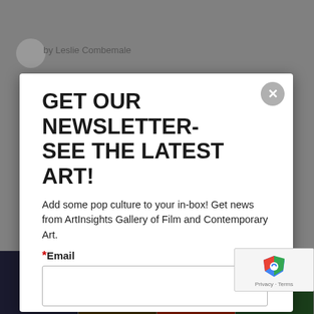[Figure (screenshot): Background of webpage with gray overlay, circular avatar icon, author text 'by Leslie Combemale', and bottom strip of dark artwork images]
GET OUR NEWSLETTER- SEE THE LATEST ART!
Add some pop culture to your in-box! Get news from ArtInsights Gallery of Film and Contemporary Art.
*Email
By submitting this form, you are consenting to receive marketing emails from: ArtInsights Gallery of Film and Contemporary Art, 11921 Freed
[Figure (logo): reCAPTCHA badge with Google logo and 'Privacy - Terms' text]